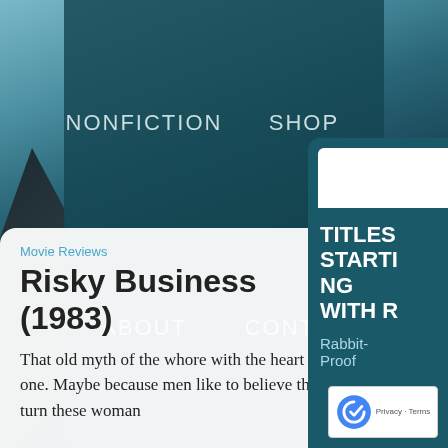[Figure (screenshot): Website navigation menu overlay on a scenic mountain/water background. Menu items: NONFICTION, SHOP, ABOUT, CONTACT in a teal semi-transparent panel.]
NONFICTION
SHOP
ABOUT
CONTACT
Movie Reviews
Risky Business (1983)
That old myth of the whore with the heart of gold is a durable one. Maybe because men like to believe they have the power to turn these woman [sic] from a life of misery and...
TITLES STARTING WITH R
Rabbit-Proof